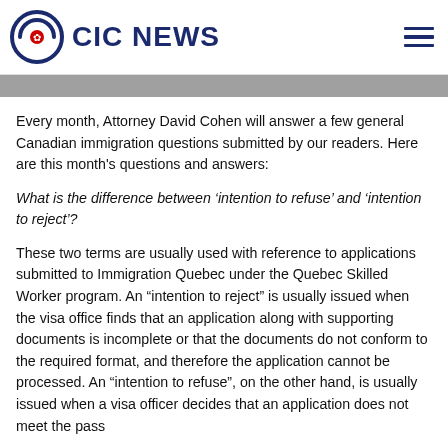CIC NEWS
Every month, Attorney David Cohen will answer a few general Canadian immigration questions submitted by our readers. Here are this month's questions and answers:
What is the difference between ‘intention to refuse’ and ‘intention to reject’?
These two terms are usually used with reference to applications submitted to Immigration Quebec under the Quebec Skilled Worker program. An “intention to reject” is usually issued when the visa office finds that an application along with supporting documents is incomplete or that the documents do not conform to the required format, and therefore the application cannot be processed. An “intention to refuse”, on the other hand, is usually issued when a visa officer decides that an application does not meet the pass